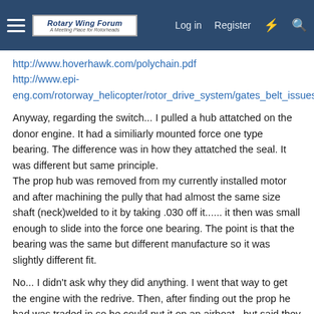Rotary Wing Forum — A Meeting Place for Rotorheads | Log in | Register
http://www.hoverhawk.com/polychain.pdf
http://www.epi-eng.com/rotorway_helicopter/rotor_drive_system/gates_belt_issues.htm
Anyway, regarding the switch... I pulled a hub attatched on the donor engine. It had a similiarly mounted force one type bearing. The difference was in how they attatched the seal. It was different but same principle.
The prop hub was removed from my currently installed motor and after machining the pully that had almost the same size shaft (neck)welded to it by taking .030 off it...... it then was small enough to slide into the force one bearing. The point is that the bearing was the same but different manufacture so it was slightly different fit.
No... I didn't ask why they did anything. I went that way to get the engine with the redrive. Then, after finding out the prop he had was traded in so he could put it on an airboat...but said they